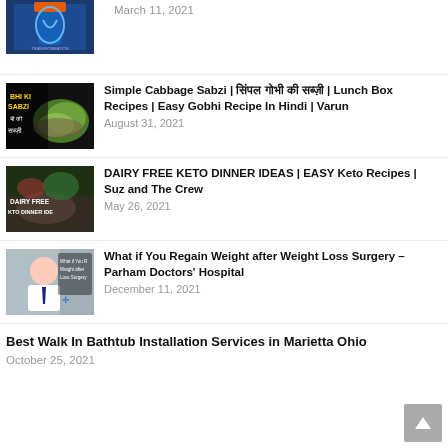March 11, 2021
Simple Cabbage Sabzi | सिंपल गोभी की सब्ज़ी | Lunch Box Recipes | Easy Gobhi Recipe In Hindi | Varun
August 31, 2021
DAIRY FREE KETO DINNER IDEAS | EASY Keto Recipes | Suz and The Crew
May 26, 2021
What if You Regain Weight after Weight Loss Surgery – Parham Doctors' Hospital
December 11, 2021
Best Walk In Bathtub Installation Services in Marietta Ohio
October 25, 2021